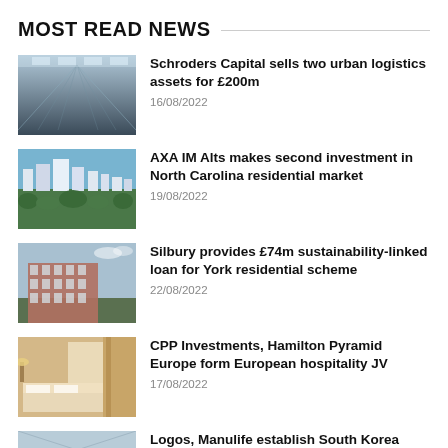MOST READ NEWS
[Figure (photo): Interior of a warehouse with shelving rows and skylights]
Schroders Capital sells two urban logistics assets for £200m
16/08/2022
[Figure (photo): Aerial view of a city skyline with green trees]
AXA IM Alts makes second investment in North Carolina residential market
19/08/2022
[Figure (photo): Modern residential building complex with landscaping]
Silbury provides £74m sustainability-linked loan for York residential scheme
22/08/2022
[Figure (photo): Hotel room interior with bed and curtains]
CPP Investments, Hamilton Pyramid Europe form European hospitality JV
17/08/2022
[Figure (photo): Building exterior partial view]
Logos, Manulife establish South Korea